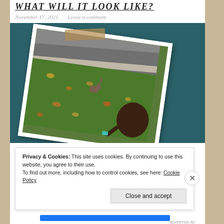WHAT WILL IT LOOK LIKE?
November 17, 2021   Leave a comment
[Figure (photo): A polaroid-style photograph taped to a teal background showing a child looking at a squirrel on a green lawn with a curb and road visible, autumn leaves on the grass.]
Privacy & Cookies: This site uses cookies. By continuing to use this website, you agree to their use.
To find out more, including how to control cookies, see here: Cookie Policy
Close and accept